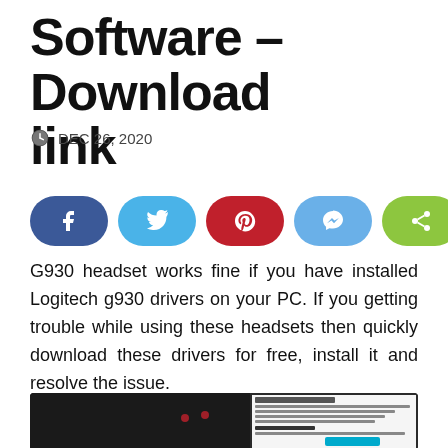Software – Download link
DEC 26, 2020
[Figure (infographic): Row of five social sharing buttons: Facebook (dark blue), Twitter (light blue), Pinterest (red), Messenger (light blue), Share (green)]
G930 headset works fine if you have installed Logitech g930 drivers on your PC. If you getting trouble while using these headsets then quickly download these drivers for free, install it and resolve the issue.
[Figure (screenshot): Screenshot showing a gaming headset image alongside Logitech Gaming Software download page with software version info, last update date, OS compatibility and file size details.]